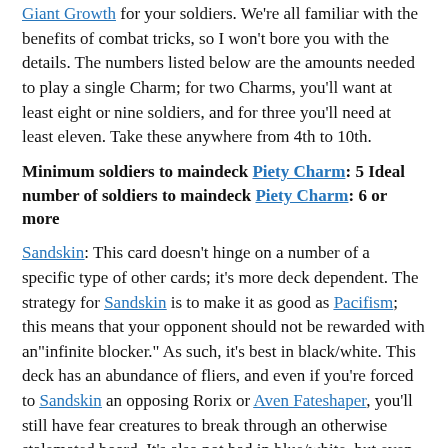Giant Growth for your soldiers. We're all familiar with the benefits of combat tricks, so I won't bore you with the details. The numbers listed below are the amounts needed to play a single Charm; for two Charms, you'll want at least eight or nine soldiers, and for three you'll need at least eleven. Take these anywhere from 4th to 10th.
Minimum soldiers to maindeck Piety Charm: 5 Ideal number of soldiers to maindeck Piety Charm: 6 or more
Sandskin: This card doesn't hinge on a number of a specific type of other cards; it's more deck dependent. The strategy for Sandskin is to make it as good as Pacifism; this means that your opponent should not be rewarded with an "infinite blocker." As such, it's best in black/white. This deck has an abundance of fliers, and even if you're forced to Sandskin an opposing Rorix or Aven Fateshaper, you'll still have fear creatures to break through an otherwise stalemated board. It's also not bad in blue/white, but even then you'd rather relegate it to the